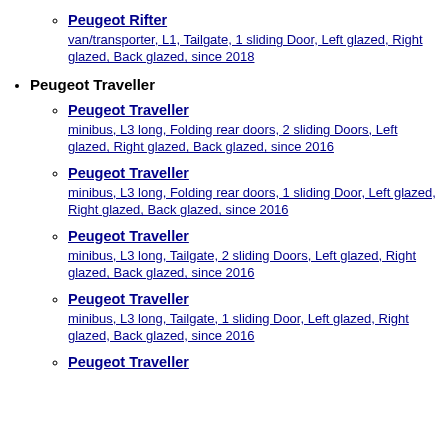Peugeot Rifter — van/transporter, L1, Tailgate, 1 sliding Door, Left glazed, Right glazed, Back glazed, since 2018
Peugeot Traveller
Peugeot Traveller — minibus, L3 long, Folding rear doors, 2 sliding Doors, Left glazed, Right glazed, Back glazed, since 2016
Peugeot Traveller — minibus, L3 long, Folding rear doors, 1 sliding Door, Left glazed, Right glazed, Back glazed, since 2016
Peugeot Traveller — minibus, L3 long, Tailgate, 2 sliding Doors, Left glazed, Right glazed, Back glazed, since 2016
Peugeot Traveller — minibus, L3 long, Tailgate, 1 sliding Door, Left glazed, Right glazed, Back glazed, since 2016
Peugeot Traveller